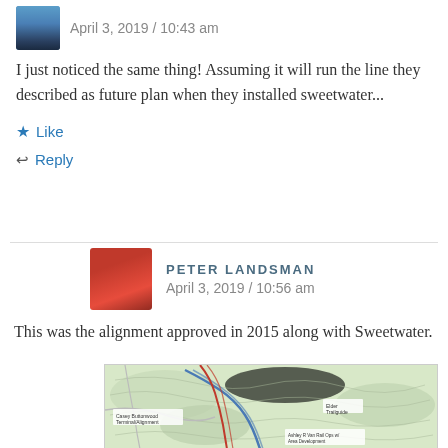[Figure (photo): Small avatar thumbnail showing a blue/water scene]
April 3, 2019 / 10:43 am
I just noticed the same thing! Assuming it will run the line they described as future plan when they installed sweetwater...
★ Like
↩ Reply
[Figure (photo): Avatar of Peter Landsman in red jacket]
PETER LANDSMAN
April 3, 2019 / 10:56 am
This was the alignment approved in 2015 along with Sweetwater.
[Figure (map): Topographic map showing trail/pipeline alignment with red and blue lines, labels including 'Casey Buttonwood Terminal/Alignment', 'Elder Trailguide', and 'Ashley R Van Rail Ops w/ Area Development']